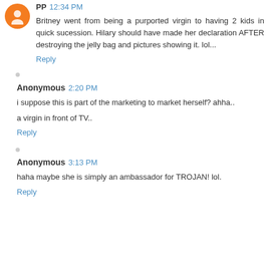PP 12:34 PM
Britney went from being a purported virgin to having 2 kids in quick sucession. Hilary should have made her declaration AFTER destroying the jelly bag and pictures showing it. lol...
Reply
Anonymous 2:20 PM
i suppose this is part of the marketing to market herself? ahha..
a virgin in front of TV..
Reply
Anonymous 3:13 PM
haha maybe she is simply an ambassador for TROJAN! lol.
Reply